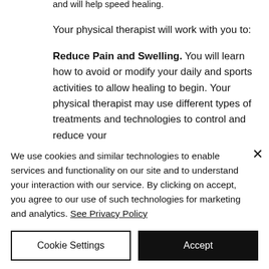and will help speed healing.
Your physical therapist will work with you to:
Reduce Pain and Swelling. You will learn how to avoid or modify your daily and sports activities to allow healing to begin. Your physical therapist may use different types of treatments and technologies to control and reduce your
We use cookies and similar technologies to enable services and functionality on our site and to understand your interaction with our service. By clicking on accept, you agree to our use of such technologies for marketing and analytics. See Privacy Policy
Cookie Settings
Accept